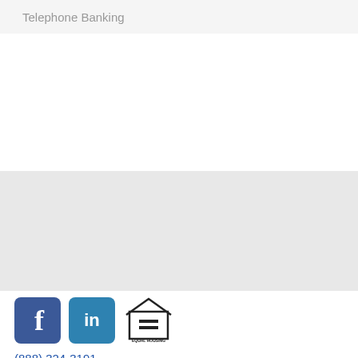Telephone Banking
[Figure (logo): Social media and equal housing lender icons: Facebook logo, LinkedIn logo, Equal Housing Lender logo]
(888) 324-3191
To report a lost or stolen Debit or ATM card, call (800) 554-8969.